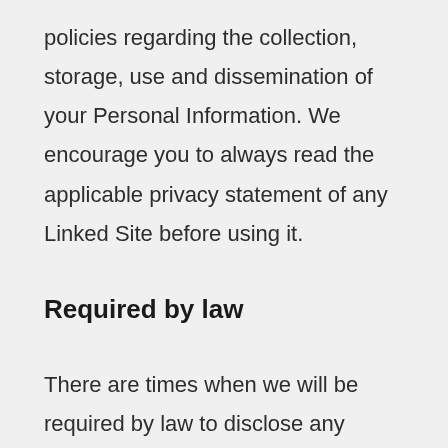policies regarding the collection, storage, use and dissemination of your Personal Information. We encourage you to always read the applicable privacy statement of any Linked Site before using it.
Required by law
There are times when we will be required by law to disclose any personal information we have about you, such as in the instance of an investigation into bankruptcy, counter-terrorism, fraud, taxation etc.